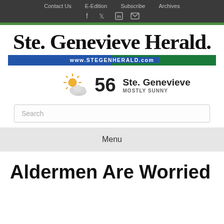Contact Us  E-Edition  Subscribe  Archives
[Figure (logo): Ste. Genevieve Herald newspaper logo with blackletter font and url bar www.STEGENHERALD.com]
[Figure (infographic): Weather widget showing 56 degrees, Ste. Genevieve, MOSTLY SUNNY with sun/cloud icon]
Search
Menu
Aldermen Are Worried